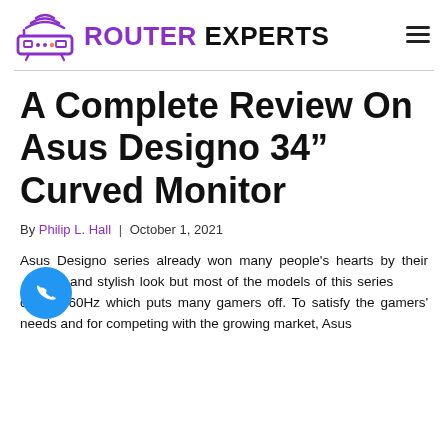ROUTER EXPERTS
A Complete Review On Asus Designo 34” Curved Monitor
By Philip L. Hall | October 1, 2021
Asus Designo series already won many people's hearts by their and stylish look but most of the models of this series cted to 60Hz which puts many gamers off. To satisfy the gamers' needs and for competing with the growing market, Asus